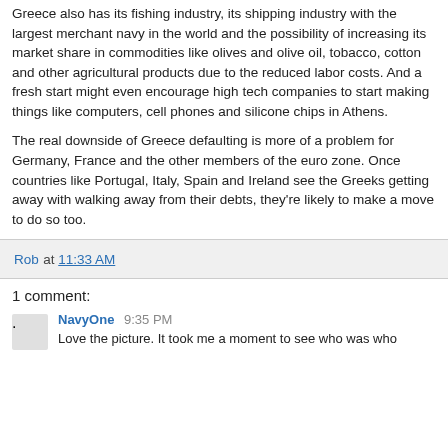Greece also has its fishing industry, its shipping industry with the largest merchant navy in the world and the possibility of increasing its market share in commodities like olives and olive oil, tobacco, cotton and other agricultural products due to the reduced labor costs. And a fresh start might even encourage high tech companies to start making things like computers, cell phones and silicone chips in Athens.
The real downside of Greece defaulting is more of a problem for Germany, France and the other members of the euro zone. Once countries like Portugal, Italy, Spain and Ireland see the Greeks getting away with walking away from their debts, they're likely to make a move to do so too.
Rob at 11:33 AM
1 comment:
NavyOne 9:35 PM
Love the picture. It took me a moment to see who was who